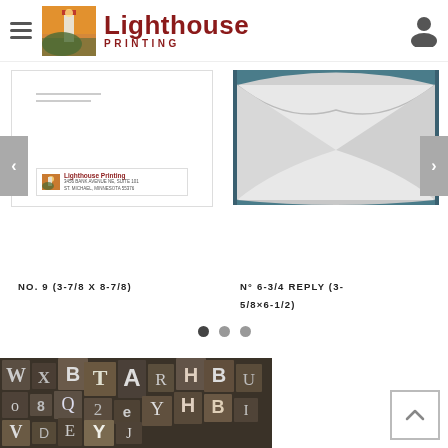[Figure (logo): Lighthouse Printing logo with lighthouse photo and red text]
[Figure (photo): No. 9 envelope product image showing a printed envelope with Lighthouse Printing return address]
[Figure (photo): N° 6-3/4 Reply envelope product image showing blank white envelope from back]
NO. 9 (3-7/8 X 8-7/8)
N° 6-3/4 REPLY (3-5/8×6-1/2)
[Figure (photo): Bottom image showing vintage metal letterpress type blocks with letters]